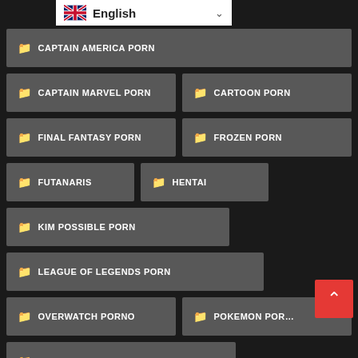[Figure (screenshot): Language selector bar showing English with UK flag and dropdown chevron]
CAPTAIN AMERICA PORN
CAPTAIN MARVEL PORN
CARTOON PORN
FINAL FANTASY PORN
FROZEN PORN
FUTANARIS
HENTAI
KIM POSSIBLE PORN
LEAGUE OF LEGENDS PORN
OVERWATCH PORNO
POKEMON PORN
SPIDERMAN PORN COMIC